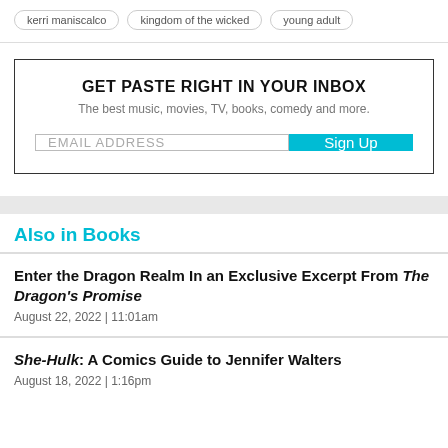kerri maniscalco
kingdom of the wicked
young adult
[Figure (infographic): Email newsletter signup box with bold headline 'GET PASTE RIGHT IN YOUR INBOX', subtext 'The best music, movies, TV, books, comedy and more.', an email address input field, and a cyan 'Sign Up' button.]
Also in Books
Enter the Dragon Realm In an Exclusive Excerpt From The Dragon's Promise
August 22, 2022  |  11:01am
She-Hulk: A Comics Guide to Jennifer Walters
August 18, 2022  |  1:16pm